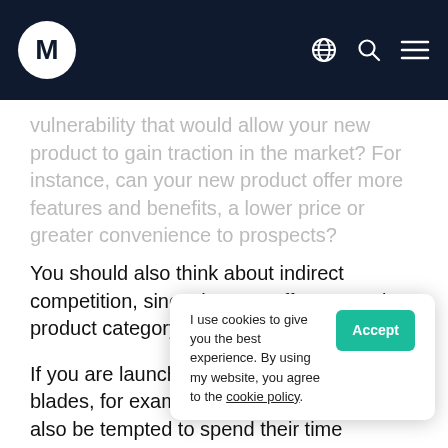M [logo] [globe icon] [search icon] [menu icon]
vulnerability that would allow your new product to gain traction in the market? For instance, can your new product offer more features and benefits, a lower price or greater convenience to prospects?
You should also think about indirect competition, since that can affect an entire product category.
If you are launching a new type of roller blades, for example, your prospects may also be tempted to spend their time skateboarding, bicycling or jogging … of roller b… s choose … course, you could then use that expertise to launch
I use cookies to give you the best experience. By using my website, you agree to the cookie policy.  [Accept]